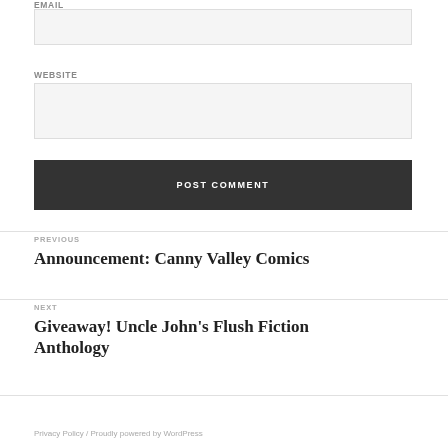EMAIL
WEBSITE
POST COMMENT
PREVIOUS
Announcement: Canny Valley Comics
NEXT
Giveaway! Uncle John's Flush Fiction Anthology
Privacy Policy / Proudly powered by WordPress